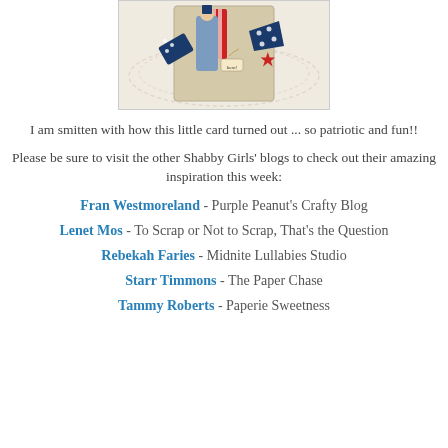[Figure (photo): A patriotic handmade card featuring a nutcracker/soldier figure with blue polka-dot ribbon, red and white striped elements, and a lace doily background.]
I am smitten with how this little card turned out ... so patriotic and fun!!
Please be sure to visit the other Shabby Girls' blogs to check out their amazing inspiration this week:
Fran Westmoreland - Purple Peanut's Crafty Blog
Lenet Mos - To Scrap or Not to Scrap, That's the Question
Rebekah Faries - Midnite Lullabies Studio
Starr Timmons - The Paper Chase
Tammy Roberts - Paperie Sweetness